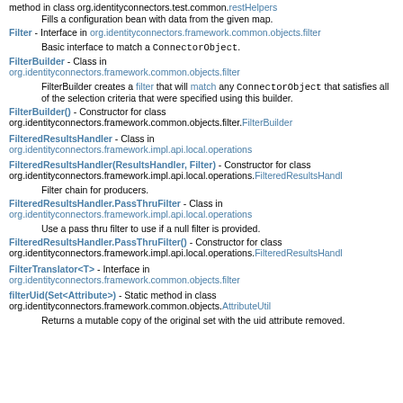method in class org.identityconnectors.test.common.restHelpers
Fills a configuration bean with data from the given map.
Filter - Interface in org.identityconnectors.framework.common.objects.filter
Basic interface to match a ConnectorObject.
FilterBuilder - Class in org.identityconnectors.framework.common.objects.filter
FilterBuilder creates a filter that will match any ConnectorObject that satisfies all of the selection criteria that were specified using this builder.
FilterBuilder() - Constructor for class org.identityconnectors.framework.common.objects.filter.FilterBuilder
FilteredResultsHandler - Class in org.identityconnectors.framework.impl.api.local.operations
FilteredResultsHandler(ResultsHandler, Filter) - Constructor for class org.identityconnectors.framework.impl.api.local.operations.FilteredResultsHandler
Filter chain for producers.
FilteredResultsHandler.PassThruFilter - Class in org.identityconnectors.framework.impl.api.local.operations
Use a pass thru filter to use if a null filter is provided.
FilteredResultsHandler.PassThruFilter() - Constructor for class org.identityconnectors.framework.impl.api.local.operations.FilteredResultsHandler
FilterTranslator<T> - Interface in org.identityconnectors.framework.common.objects.filter
filterUid(Set<Attribute>) - Static method in class org.identityconnectors.framework.common.objects.AttributeUtil
Returns a mutable copy of the original set with the uid attribute removed.